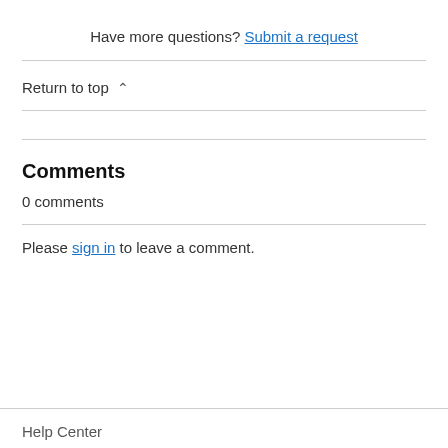Have more questions? Submit a request
Return to top ∧
Comments
0 comments
Please sign in to leave a comment.
Help Center